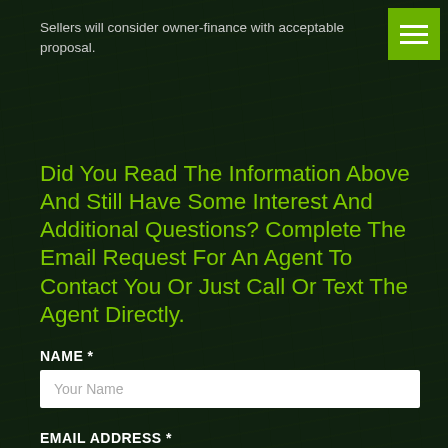Sellers will consider owner-finance with acceptable proposal.
Did You Read The Information Above And Still Have Some Interest And Additional Questions? Complete The Email Request For An Agent To Contact You Or Just Call Or Text The Agent Directly.
NAME *
Your Name
EMAIL ADDRESS *
Email Address